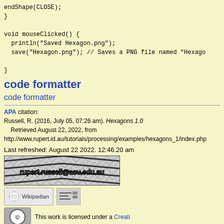endShape(CLOSE);
}

void mouseClicked() {
  println("Saved Hexagon.png");
  save("Hexagon.png"); // Saves a PNG file named "Hexagon"

}
code formatter
code formatter
APA citation: Russell, R. (2016, July 05, 07:26 am). Hexagons 1.0 Retrieved August 22, 2022, from http://www.rupert.id.au/tutorials/processing/examples/hexagons_1/index.php
Last refreshed: August 22 2022. 12:46.20 am
[Figure (illustration): Email banner image showing rupert.russell@acu.edu.au in stylized text over a chevron/zigzag pattern background. Below are a Wikipedian badge and a formatted text badge.]
[Figure (logo): Creative Commons license badge (CC circle icon) followed by text 'This work is licensed under a Creative...']